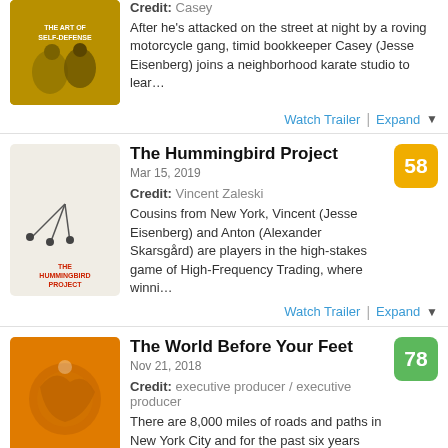[Figure (photo): Movie poster for The Art of Self-Defense, yellow background with figures]
Credit: Casey
After he's attacked on the street at night by a roving motorcycle gang, timid bookkeeper Casey (Jesse Eisenberg) joins a neighborhood karate studio to lear…
Watch Trailer | Expand
[Figure (photo): Movie poster for The Hummingbird Project, light beige background with silhouettes]
The Hummingbird Project
Mar 15, 2019
Credit: Vincent Zaleski
Cousins from New York, Vincent (Jesse Eisenberg) and Anton (Alexander Skarsgård) are players in the high-stakes game of High-Frequency Trading, where winni…
58
Watch Trailer | Expand
[Figure (photo): Movie poster for The World Before Your Feet, orange background with map/walking figure illustration]
The World Before Your Feet
Nov 21, 2018
Credit: executive producer / executive producer
There are 8,000 miles of roads and paths in New York City and for the past six years Matt Green has been walking them all – every street, park, cemetery, beach…
78